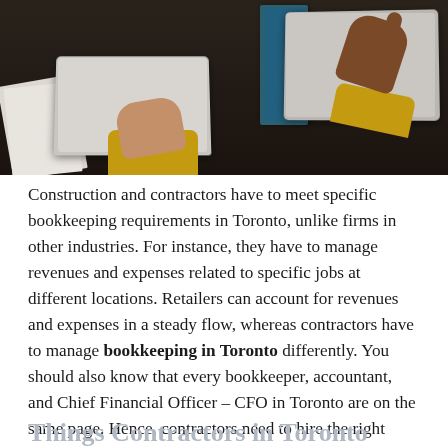[Figure (photo): Overhead view of two people working at a dark desk with laptops, papers, and notebooks. One person wearing yellow/gold sleeves on the left, another with darker skin on the right.]
Construction and contractors have to meet specific bookkeeping requirements in Toronto, unlike firms in other industries. For instance, they have to manage revenues and expenses related to specific jobs at different locations. Retailers can account for revenues and expenses in a steady flow, whereas contractors have to manage bookkeeping in Toronto differently. You should also know that every bookkeeper, accountant, and Chief Financial Officer – CFO in Toronto are on the same page. Hence, contractors need to hire the right bookkeeper to minimize their overall tax burdens and maximize their company's cash flow.
Things Contractors in Toronto